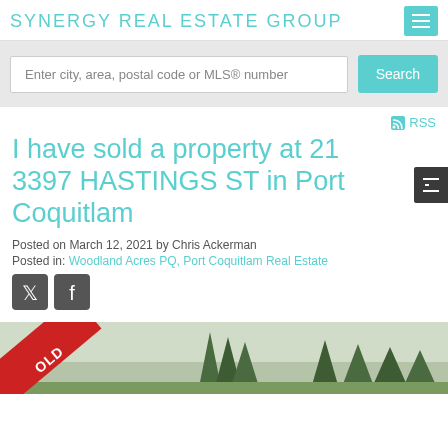SYNERGY REAL ESTATE GROUP
Enter city, area, postal code or MLS® number
RSS
I have sold a property at 21 3397 HASTINGS ST in Port Coquitlam
Posted on March 12, 2021 by Chris Ackerman
Posted in: Woodland Acres PQ, Port Coquitlam Real Estate
[Figure (photo): Property photo with SOLD banner overlay and trees in background]